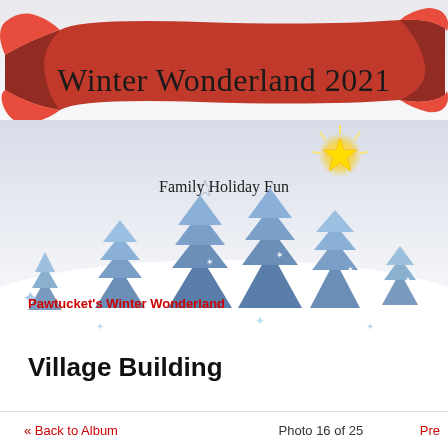[Figure (illustration): Red ribbon banner across the top of the page with curled ends, overlaid on a light gray gradient background with a winter scene of blue stylized Christmas trees, snowflakes, and a glowing gold star at top right.]
Winter Wonderland 2021
Family Holiday Fun
Pawtucket's Winter Wonderland
Village Building
« Back to Album   Photo 16 of 25   Pre